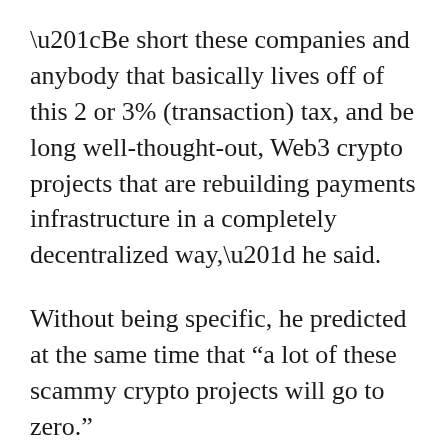“Be short these companies and anybody that basically lives off of this 2 or 3% (transaction) tax, and be long well-thought-out, Web3 crypto projects that are rebuilding payments infrastructure in a completely decentralized way,” he said.
Without being specific, he predicted at the same time that “a lot of these scammy crypto projects will go to zero.”
“If you read the whitepapers of these crypto projects, and you systematically put together a framework, I think you can be long those and you can be short Visa/MasterCard, because I think this is their peak market cap,” he added.